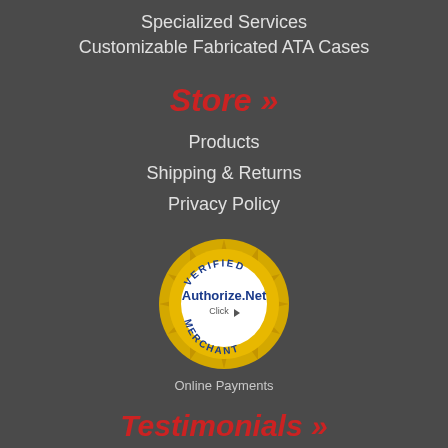Specialized Services
Customizable Fabricated ATA Cases
Store »
Products
Shipping & Returns
Privacy Policy
[Figure (logo): Authorize.Net Verified Merchant badge with gold seal and blue logo text, showing 'Click' with play button]
Online Payments
Testimonials »
Many providers claim their service speaks for itself, but we know it's the customer's opinion that truly matters.